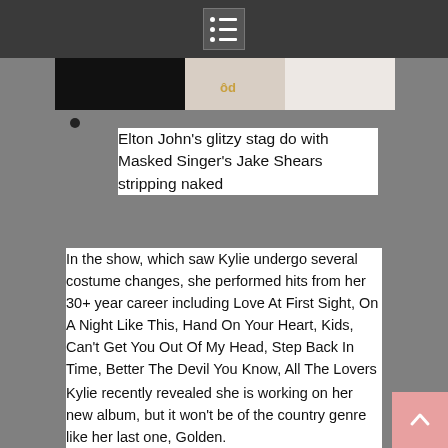Menu icon / navigation header
[Figure (photo): Partial image strip showing black and white/light colored sections, appears to be a cropped photo of people]
Elton John's glitzy stag do with Masked Singer's Jake Shears stripping naked
In the show, which saw Kylie undergo several costume changes, she performed hits from her 30+ year career including Love At First Sight, On A Night Like This, Hand On Your Heart, Kids, Can't Get You Out Of My Head, Step Back In Time, Better The Devil You Know, All The Lovers and Spinning Around.
Kylie recently revealed she is working on her new album, but it won't be of the country genre like her last one, Golden.